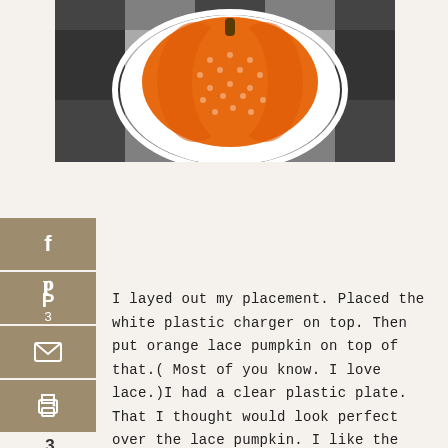[Figure (photo): Overhead photo of an orange lace pumpkin decoration on a white scalloped plate, placed on a black and white plaid fabric background.]
[Figure (infographic): Social share sidebar with Facebook, Pinterest (3 saves), email, and print buttons in tan/khaki color. Shows 3 SHARES at bottom.]
I layed out my placement. Placed the white plastic charger on top. Then put orange lace pumpkin on top of that.( Most of you know. I love lace.)I had a clear plastic plate. That I thought would look perfect over the lace pumpkin. I like the Harvest sign. But later decided to move it. You'll see later on.